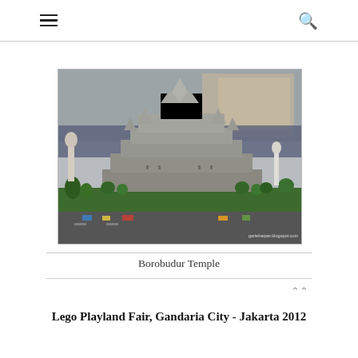☰ 🔍
[Figure (photo): A LEGO model of Borobudur Temple displayed at what appears to be an indoor exhibition. The model features the multi-tiered stone temple structure with detailed towers and walls, surrounded by green LEGO trees, small figures on a street, and exhibition hall visible in background. Watermark reads: garieharper.blogspot.com]
Borobudur Temple
Lego Playland Fair, Gandaria City - Jakarta 2012